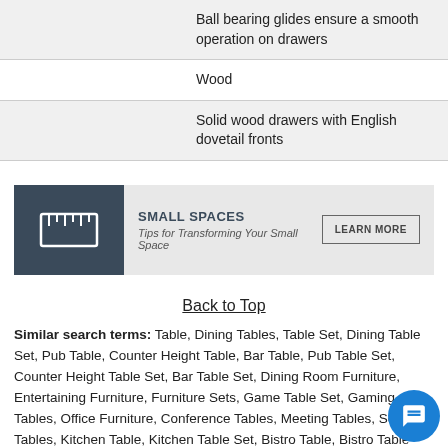|  | Ball bearing glides ensure a smooth operation on drawers |
|  | Wood |
|  | Solid wood drawers with English dovetail fronts |
[Figure (infographic): Small Spaces promotional banner with ruler icon, title 'SMALL SPACES', subtitle 'Tips for Transforming Your Small Space', and a 'LEARN MORE' button]
Back to Top
Similar search terms: Table, Dining Tables, Table Set, Dining Table Set, Pub Table, Counter Height Table, Bar Table, Pub Table Set, Counter Height Table Set, Bar Table Set, Dining Room Furniture, Entertaining Furniture, Furniture Sets, Game Table Set, Gaming Tables, Office Furniture, Conference Tables, Meeting Tables, Serving Tables, Kitchen Table, Kitchen Table Set, Bistro Table, Bistro Table Sets, Pedestal Table, Leg Table, Dining Room Tables, Food Table, Table with Leaves, Leaf Table, Dinner Table, Dinette, Dinette Set, Extension Dining Table, Extendable Table